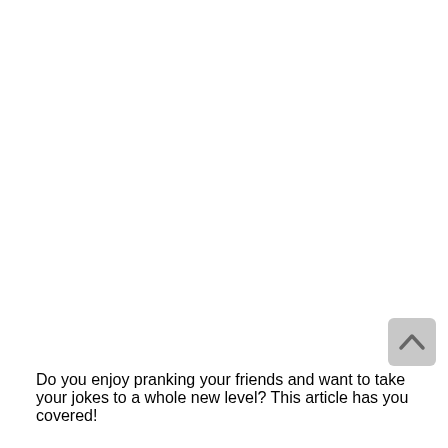[Figure (other): A scroll-to-top button: rounded rectangle with light grey background and an upward-pointing chevron arrow icon, positioned in the lower-right area of the page.]
Do you enjoy pranking your friends and want to take your jokes to a whole new level? This article has you covered!